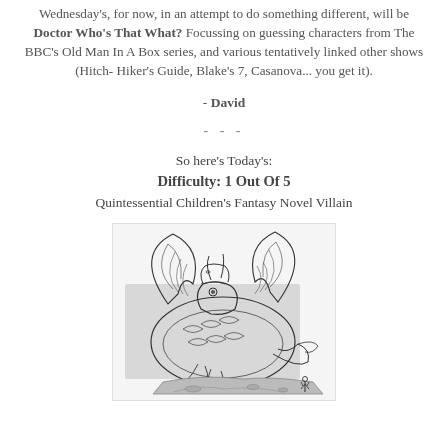Wednesday's, for now, in an attempt to do something different, will be Doctor Who's That What? Focussing on guessing characters from The BBC's Old Man In A Box series, and various tentatively linked other shows (Hitch-Hiker's Guide, Blake's 7, Casanova... you get it).
- David
- - -
So here's Today's:
Difficulty: 1 Out Of 5
Quintessential Children's Fantasy Novel Villain
[Figure (illustration): Black and white line drawing illustration of a large dragon curled up, with a tiny human figure for scale at the bottom right. The dragon has large wings, scales, and a detailed fantasy art style.]